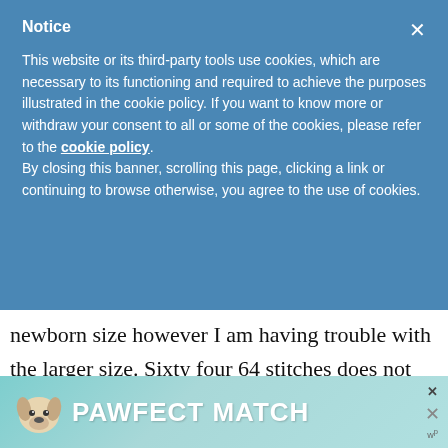Notice
This website or its third-party tools use cookies, which are necessary to its functioning and required to achieve the purposes illustrated in the cookie policy. If you want to know more or withdraw your consent to all or some of the cookies, please refer to the cookie policy. By closing this banner, scrolling this page, clicking a link or continuing to browse otherwise, you agree to the use of cookies.
newborn size however I am having trouble with the larger size. Sixty four 64 stitches does not work out correct.when you start the 20th row you are left with 3 stitches at the end
[Figure (infographic): Pawfect Match advertisement banner with dog image and teal background]